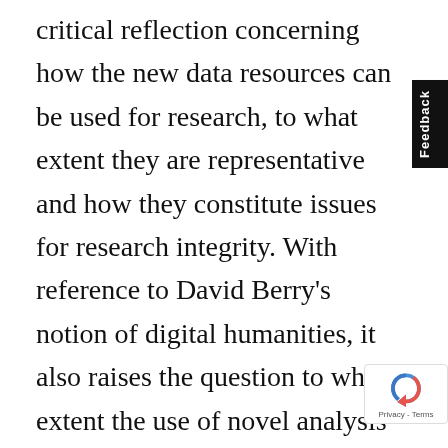critical reflection concerning how the new data resources can be used for research, to what extent they are representative and how they constitute issues for research integrity. With reference to David Berry's notion of digital humanities, it also raises the question to what extent the use of novel analysis tools affects the epistemic process (Berry 2012). In presenting examples of the transformation of citizenship through social media and data practices, this special issue inherently tells also about the transformation of scholarship and research through novel data resources